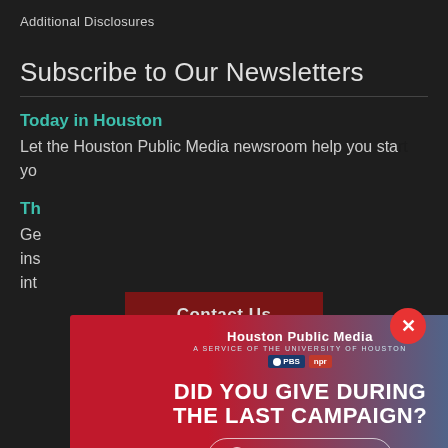Additional Disclosures
Subscribe to Our Newsletters
Today in Houston
Let the Houston Public Media newsroom help you start your day…
The (second newsletter title partially visible)
Get the latest…insights…into…
[Figure (infographic): Houston Public Media promotional modal overlay with gradient red-to-blue background, logo, PBS and NPR badges, headline 'DID YOU GIVE DURING THE LAST CAMPAIGN?', and a CTA button 'Click here to see if your employer matches'. Red circular X close button at top right.]
Contact Us
4343 Elgin, Houston, TX 77204-0008
[Figure (other): Social media icons row: Facebook, Twitter, Instagram, YouTube, LinkedIn]